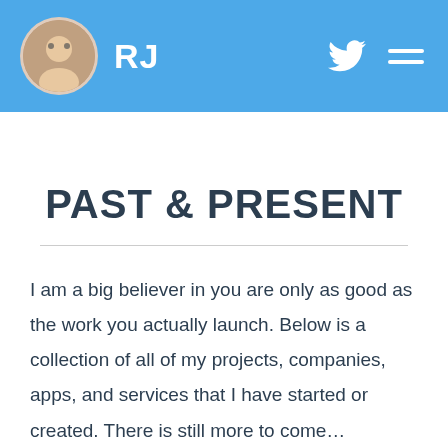RJ
PAST & PRESENT
I am a big believer in you are only as good as the work you actually launch. Below is a collection of all of my projects, companies, apps, and services that I have started or created. There is still more to come…